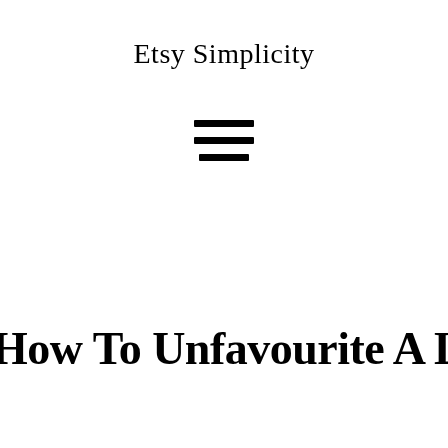Etsy Simplicity
[Figure (other): Hamburger menu icon — three horizontal black bars stacked vertically]
How To Unfavourite A Listing O